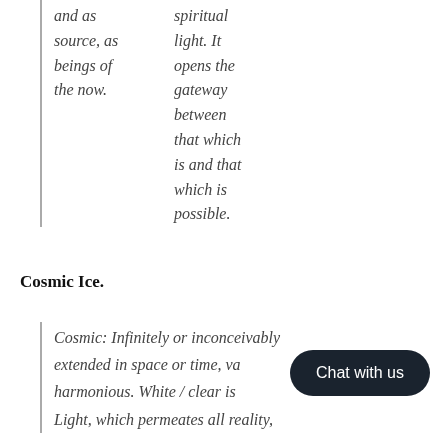and as spiritual source, as light. It beings of opens the the now. gateway between that which is and that which is possible.
Cosmic Ice.
Cosmic: Infinitely or inconceivably extended in space or time, va... harmonious. White / clear is... Light, which permeates all reality,